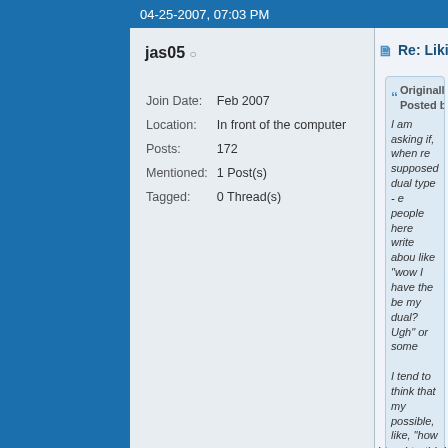04-25-2007, 07:03 PM
jas05 ○
| Join Date: | Feb 2007 |
| Location: | In front of the computer |
| Posts: | 172 |
| Mentioned: | 1 Post(s) |
| Tagged: | 0 Thread(s) |
Re: Liking your dual as a
Originally Posted b
I am asking if, when re supposed dual type - e people here write about like "wow I have the be my dual? Ugh" or some
I tend to think that my possible, like, "how can a dual?" but I wonder h
I tend to think, "How can anyone and people-hating INTps, have
Intuition